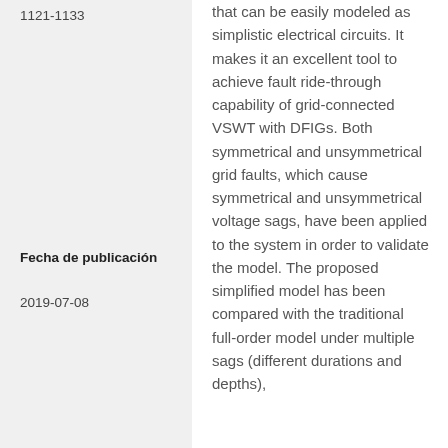1121-1133
Fecha de publicación
2019-07-08
that can be easily modeled as simplistic electrical circuits. It makes it an excellent tool to achieve fault ride-through capability of grid-connected VSWT with DFIGs. Both symmetrical and unsymmetrical grid faults, which cause symmetrical and unsymmetrical voltage sags, have been applied to the system in order to validate the model. The proposed simplified model has been compared with the traditional full-order model under multiple sags (different durations and depths),